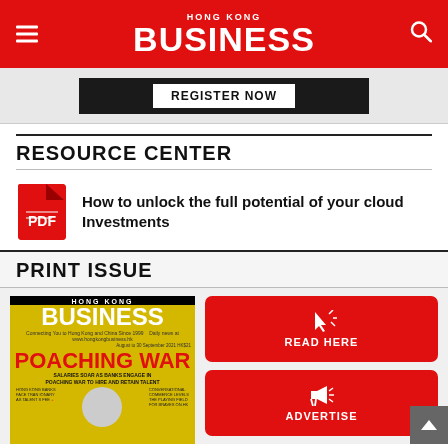HONG KONG BUSINESS
[Figure (screenshot): Dark banner with REGISTER NOW button]
RESOURCE CENTER
How to unlock the full potential of your cloud Investments
PRINT ISSUE
[Figure (photo): Hong Kong Business magazine cover - POACHING WAR issue, with headline about salaries soaring as banks engage in poaching war to hire and retain talent]
[Figure (other): READ HERE red button with cursor icon]
[Figure (other): ADVERTISE red button with megaphone icon]